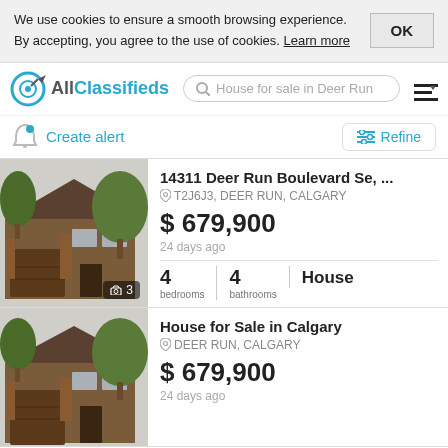We use cookies to ensure a smooth browsing experience. By accepting, you agree to the use of cookies. Learn more
OK
[Figure (logo): AllClassifieds logo with target icon and site name]
House for sale in Deer Run
Create alert
Refine
[Figure (photo): Photo of a brown tudor-style house with garage and trees]
14311 Deer Run Boulevard Se, ...
T2J6J3, DEER RUN, CALGARY
$ 679,900
24 days ago
4 bedrooms  4 bathrooms  House
[Figure (photo): Photo of same brown tudor-style house with garage and trees]
House for Sale in Calgary
DEER RUN, CALGARY
$ 679,900
24 days ago